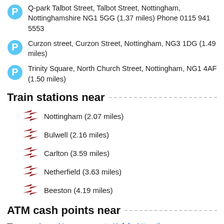Q-park Talbot Street, Talbot Street, Nottingham, Nottinghamshire NG1 5GG (1.37 miles) Phone 0115 941 5553
Curzon street, Curzon Street, Nottingham, NG3 1DG (1.49 miles)
Trinity Square, North Church Street, Nottingham, NG1 4AF (1.50 miles)
Train stations near
Nottingham (2.07 miles)
Bulwell (2.16 miles)
Carlton (3.59 miles)
Netherfield (3.63 miles)
Beeston (4.19 miles)
ATM cash points near
These cash machines are near to Kafele Attraction